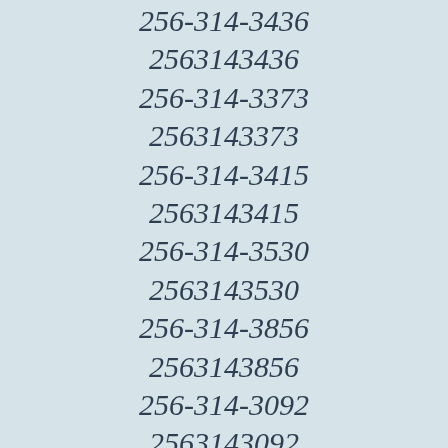256-314-3436
2563143436
256-314-3373
2563143373
256-314-3415
2563143415
256-314-3530
2563143530
256-314-3856
2563143856
256-314-3092
2563143092
256-314-3693
2563143693
256-314-3728
2563143728